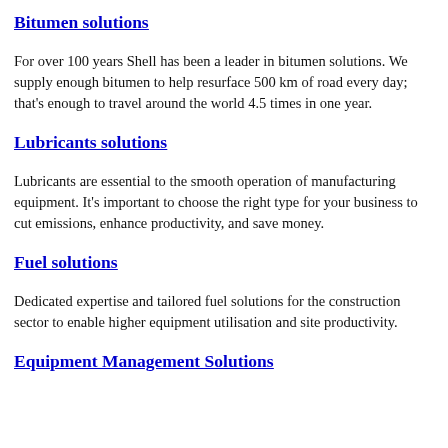Bitumen solutions
For over 100 years Shell has been a leader in bitumen solutions. We supply enough bitumen to help resurface 500 km of road every day; that's enough to travel around the world 4.5 times in one year.
Lubricants solutions
Lubricants are essential to the smooth operation of manufacturing equipment. It's important to choose the right type for your business to cut emissions, enhance productivity, and save money.
Fuel solutions
Dedicated expertise and tailored fuel solutions for the construction sector to enable higher equipment utilisation and site productivity.
Equipment Management Solutions